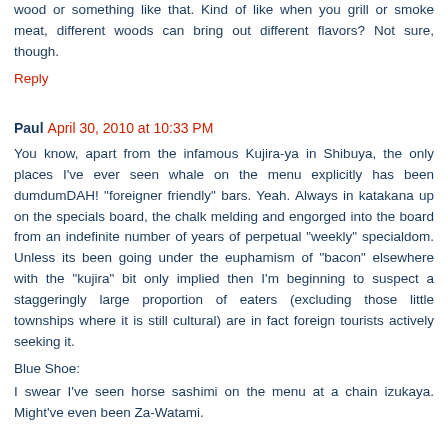wood or something like that. Kind of like when you grill or smoke meat, different woods can bring out different flavors? Not sure, though.
Reply
Paul  April 30, 2010 at 10:33 PM
You know, apart from the infamous Kujira-ya in Shibuya, the only places I've ever seen whale on the menu explicitly has been dumdum DAH! "foreigner friendly" bars. Yeah. Always in katakana up on the specials board, the chalk melding and engorged into the board from an indefinite number of years of perpetual "weekly" specialdom. Unless its been going under the euphamism of "bacon" elsewhere with the "kujira" bit only implied then I'm beginning to suspect a staggeringly large proportion of eaters (excluding those little townships where it is still cultural) are in fact foreign tourists actively seeking it.
Blue Shoe:
I swear I've seen horse sashimi on the menu at a chain izukaya. Might've even been Za-Watami.